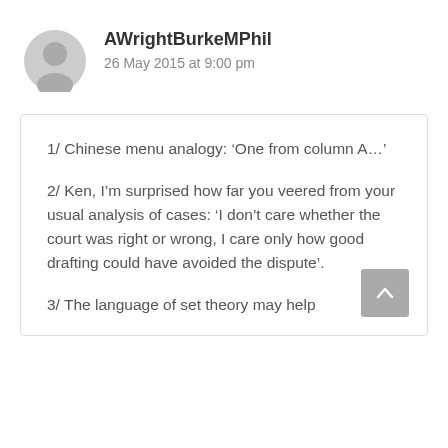AWrightBurkeMPhil
26 May 2015 at 9:00 pm
1/ Chinese menu analogy: ‘One from column A…’
2/ Ken, I’m surprised how far you veered from your usual analysis of cases: ‘I don’t care whether the court was right or wrong, I care only how good drafting could have avoided the dispute’.
3/ The language of set theory may help